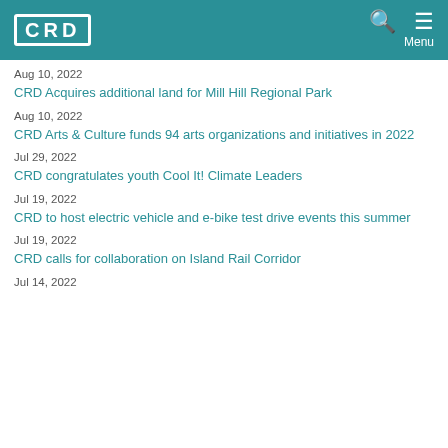CRD
Aug 10, 2022
CRD Acquires additional land for Mill Hill Regional Park
Aug 10, 2022
CRD Arts & Culture funds 94 arts organizations and initiatives in 2022
Jul 29, 2022
CRD congratulates youth Cool It! Climate Leaders
Jul 19, 2022
CRD to host electric vehicle and e-bike test drive events this summer
Jul 19, 2022
CRD calls for collaboration on Island Rail Corridor
Jul 14, 2022